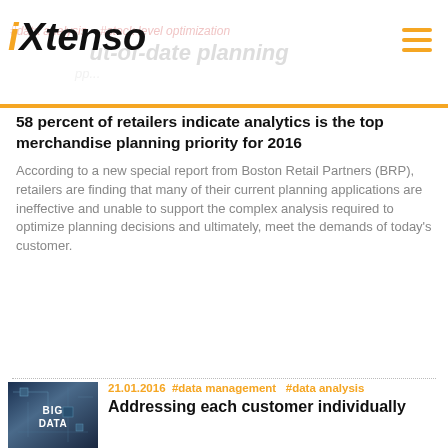iXtenso
58 percent of retailers indicate analytics is the top merchandise planning priority for 2016
According to a new special report from Boston Retail Partners (BRP), retailers are finding that many of their current planning applications are ineffective and unable to support the complex analysis required to optimize planning decisions and ultimately, meet the demands of today's customer.
[Figure (photo): Big Data circuit board image with text 'BIG DATA']
21.01.2016  #data management  #data analysis
Addressing each customer individually
Benefits and risks of big data in retail
Customer loyalty programs, mobile apps, and online ordering data are just some of the data sources retailers can use today to gain new insights into